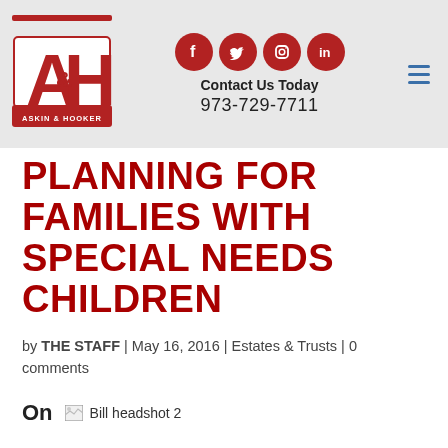Askin & Hooker | Social: Facebook, Twitter, Instagram, LinkedIn | Contact Us Today | 973-729-7711
PLANNING FOR FAMILIES WITH SPECIAL NEEDS CHILDREN
by THE STAFF | May 16, 2016 | Estates & Trusts | 0 comments
On
[Figure (photo): Broken image placeholder labeled 'Bill headshot 2']